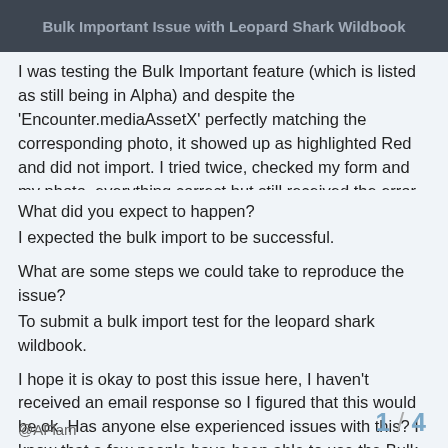Bulk Important Issue with Leopard Shark Wildbook
I was testing the Bulk Important feature (which is listed as still being in Alpha) and despite the 'Encounter.mediaAssetX' perfectly matching the corresponding photo, it showed up as highlighted Red and did not import. I tried twice, checked my form and my photo, everything correct but still received the error.
What did you expect to happen?
I expected the bulk import to be successful.
What are some steps we could take to reproduce the issue?
To submit a bulk import test for the leopard shark wildbook.
I hope it is okay to post this issue here, I haven't received an email response so I figured that this would be ok. Has anyone else experienced issues with this? I know that a few people have been able to use the Bulk Import feature for Leopard sharks, so I'm wondering if there is something else. Thanks in advance for your time and help!
@AFlam
1 / 4